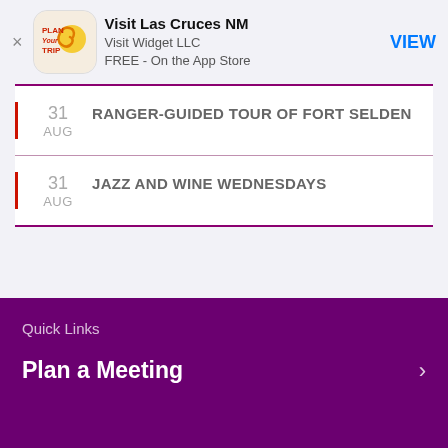[Figure (screenshot): App Store smart banner for 'Visit Las Cruces NM' app by Visit Widget LLC, free on the App Store, with a close button (×), app icon (Plan Your Trip with sun/swirl logo), and VIEW button]
31 AUG — RANGER-GUIDED TOUR OF FORT SELDEN
31 AUG — JAZZ AND WINE WEDNESDAYS
Quick Links
Plan a Meeting